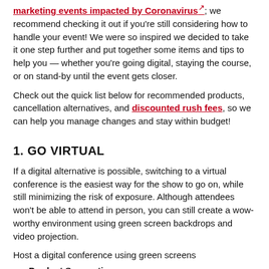marketing events impacted by Coronavirus [link]; we recommend checking it out if you're still considering how to handle your event! We were so inspired we decided to take it one step further and put together some items and tips to help you — whether you're going digital, staying the course, or on stand-by until the event gets closer.
Check out the quick list below for recommended products, cancellation alternatives, and discounted rush fees, so we can help you manage changes and stay within budget!
1. GO VIRTUAL
If a digital alternative is possible, switching to a virtual conference is the easiest way for the show to go on, while still minimizing the risk of exposure. Although attendees won't be able to attend in person, you can still create a wow-worthy environment using green screen backdrops and video projection.
Host a digital conference using green screens
Product Suggestions:
Quick Walls – easy to set up and lightweight to